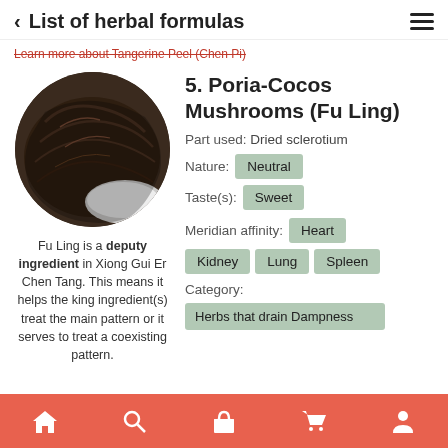< List of herbal formulas
Learn more about Tangerine Peel (Chen Pi)
[Figure (photo): Circular photo of Poria-Cocos mushroom (Fu Ling) showing dark brown fibrous exterior with white interior]
5. Poria-Cocos Mushrooms (Fu Ling)
Part used: Dried sclerotium
Nature: Neutral
Taste(s): Sweet
Meridian affinity: Heart
Kidney
Lung
Spleen
Category:
Herbs that drain Dampness
Fu Ling is a deputy ingredient in Xiong Gui Er Chen Tang. This means it helps the king ingredient(s) treat the main pattern or it serves to treat a coexisting pattern.
Home | Search | Shop | Cart | Profile